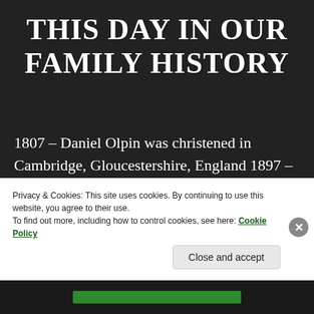THIS DAY IN OUR FAMILY HISTORY
1807 – Daniel Olpin was christened in Cambridge, Gloucestershire, England 1897 – Thomas Schofield and Lucy Jane Webb were married 1928 – Hannah Pitt died in Cedar City, Iron, Utah, United States 1937 – Archie Harold Alcorn and Mattie Myrtle Payne were married in Weber, Utah, United States
Privacy & Cookies: This site uses cookies. By continuing to use this website, you agree to their use.
To find out more, including how to control cookies, see here: Cookie Policy
Close and accept